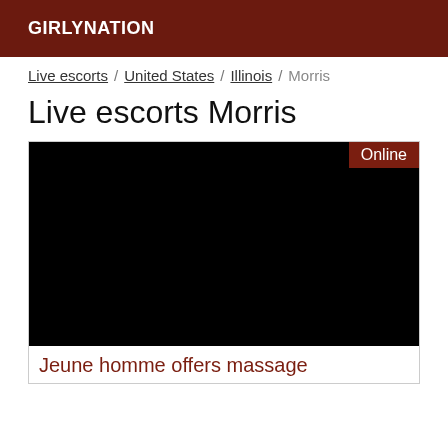GIRLYNATION
Live escorts / United States / Illinois / Morris
Live escorts Morris
[Figure (photo): Black image with Online badge in top right corner]
Jeune homme offers massage